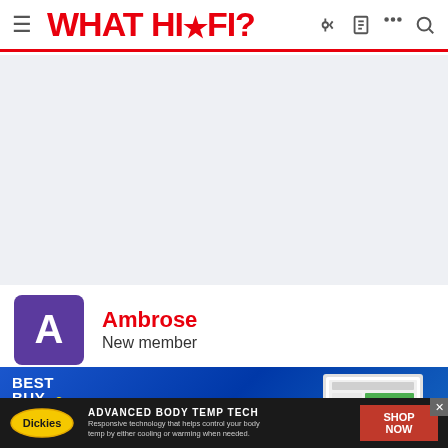WHAT HI·FI?
[Figure (other): Gray advertisement placeholder area]
Ambrose
New member
[Figure (other): Best Buy advertisement — Save up to $300 with laptop image]
[Figure (other): Dickies advertisement — Advanced Body Temp Tech. Responsive technology that helps control your body temp by either cooling or warming when needed. SHOP NOW]